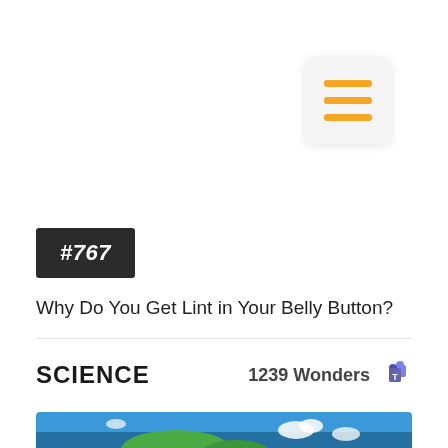[Figure (screenshot): Hamburger menu button with three orange horizontal lines on a light gray card with rounded corners and shadow]
#767
Why Do You Get Lint in Your Belly Button?
SCIENCE
1239 Wonders
[Figure (photo): Partial view of an illustrated globe or world scene with green land and blue ocean, white clouds]